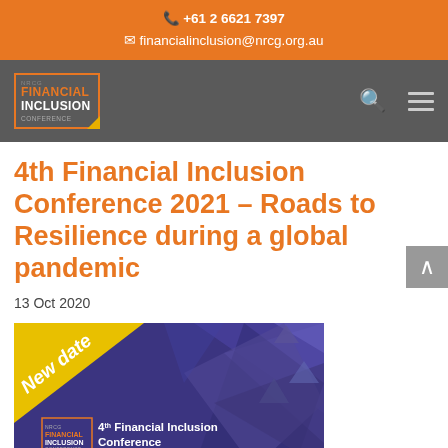+61 2 6621 7397
financialinclusion@nrcg.org.au
[Figure (logo): Financial Inclusion Conference logo — orange and white text on dark grey navigation bar with search and menu icons]
4th Financial Inclusion Conference 2021 – Roads to Resilience during a global pandemic
13 Oct 2020
[Figure (illustration): Conference banner image with purple geometric triangles background, yellow 'New date' banner in top-left corner, Financial Inclusion logo, and text '4th Financial Inclusion Conference – Roads to Resilience']